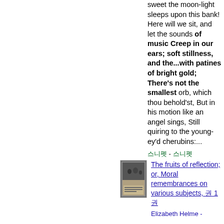sweet the moon-light sleeps upon this bank! Here will we sit, and let the sounds of music Creep in our ears; soft stillness, and the...with patines of bright gold; There's not the smallest orb, which thou behold'st, But in his motion like an angel sings, Still quiring to the young-ey'd cherubins:...
스니펫 - 스니펫
[Figure (illustration): Book cover thumbnail: The fruits of reflection; or, Moral remembrances on various subjects, showing figures in classical scene]
The fruits of reflection; or, Moral remembrances on various subjects, 권 1 권
Elizabeth Helme -